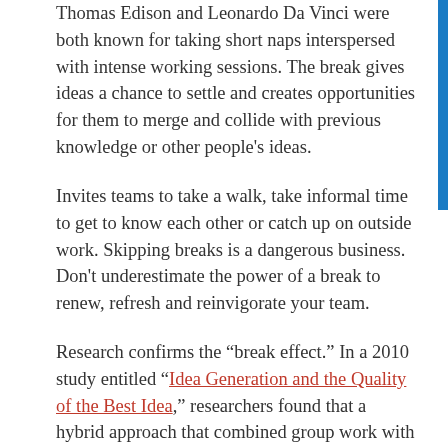Thomas Edison and Leonardo Da Vinci were both known for taking short naps interspersed with intense working sessions. The break gives ideas a chance to settle and creates opportunities for them to merge and collide with previous knowledge or other people's ideas.
Invites teams to take a walk, take informal time to get to know each other or catch up on outside work. Skipping breaks is a dangerous business. Don't underestimate the power of a break to renew, refresh and reinvigorate your team.
Research confirms the “break effect.” In a 2010 study entitled “Idea Generation and the Quality of the Best Idea,” researchers found that a hybrid approach that combined group work with individual time for reflection resulted in the most quality ideas.